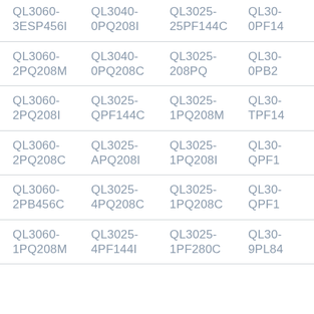| QL3060-3ESP456I | QL3040-0PQ208I | QL3025-25PF144C | QL30-0PF14 |
| QL3060-2PQ208M | QL3040-0PQ208C | QL3025-208PQ | QL30-0PB2 |
| QL3060-2PQ208I | QL3025-QPF144C | QL3025-1PQ208M | QL30-TPF14 |
| QL3060-2PQ208C | QL3025-APQ208I | QL3025-1PQ208I | QL30-QPF1 |
| QL3060-2PB456C | QL3025-4PQ208C | QL3025-1PQ208C | QL30-QPF1 |
| QL3060-1PQ208M | QL3025-4PF144I | QL3025-1PF280C | QL30-9PL84 |